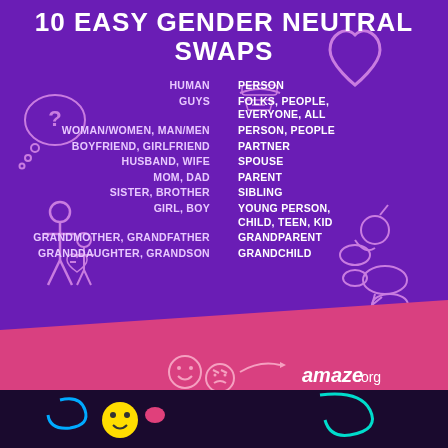10 EASY GENDER NEUTRAL SWAPS
HUMAN → PERSON
GUYS → FOLKS, PEOPLE, EVERYONE, ALL
WOMAN/WOMEN, MAN/MEN → PERSON, PEOPLE
BOYFRIEND, GIRLFRIEND → PARTNER
HUSBAND, WIFE → SPOUSE
MOM, DAD → PARENT
SISTER, BROTHER → SIBLING
GIRL, BOY → YOUNG PERSON, CHILD, TEEN, KID
GRANDMOTHER, GRANDFATHER → GRANDPARENT
GRANDDAUGHTER, GRANDSON → GRANDCHILD
[Figure (infographic): Purple background infographic with decorative line-art illustrations including a thought bubble with question mark, heart outline, adult and child figures, face emojis. Pink diagonal band at bottom. Black banner at very bottom. amaze.org logo.]